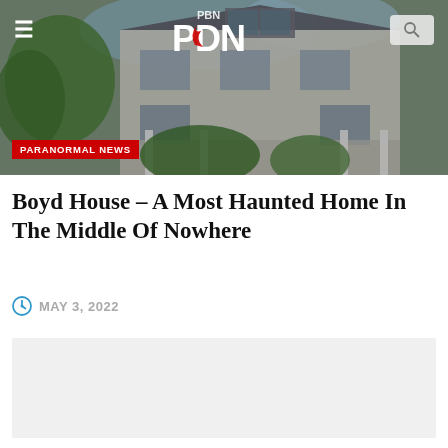[Figure (photo): Victorian-style house with white siding, large porch, and trees in background. Navigation bar overlaid with hamburger menu on left, PBN/PDN logo in center, search box on right.]
PARANORMAL NEWS
Boyd House – A Most Haunted Home In The Middle Of Nowhere
MAY 3, 2022
[Figure (other): Light gray empty content placeholder box]